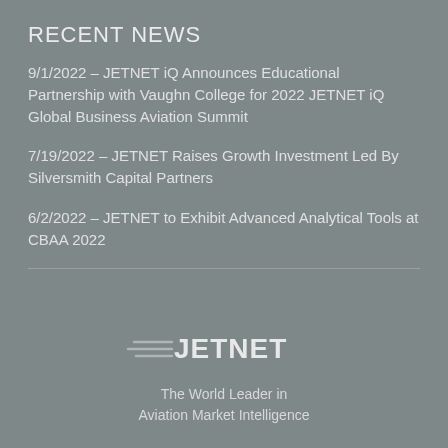RECENT NEWS
9/1/2022 – JETNET iQ Announces Educational Partnership with Vaughn College for 2022 JETNET iQ Global Business Aviation Summit
7/19/2022 – JETNET Raises Growth Investment Led By Silversmith Capital Partners
6/2/2022 – JETNET to Exhibit Advanced Analytical Tools at CBAA 2022
[Figure (logo): JETNET logo with speed lines and tagline 'The World Leader in Aviation Market Intelligence']